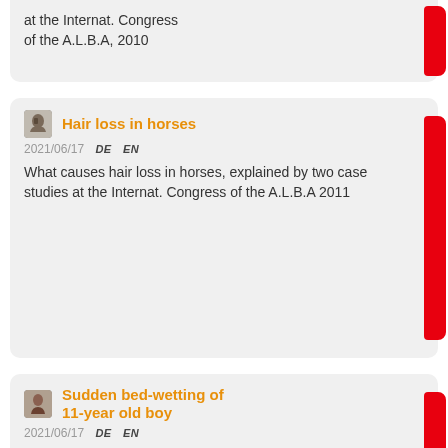at the Internat. Congress of the A.L.B.A, 2010
Hair loss in horses
2021/06/17  DE  EN
What causes hair loss in horses, explained by two case studies at the Internat. Congress of the A.L.B.A 2011
Sudden bed-wetting of 11-year old boy
2021/06/17  DE  EN
An 11-year-old boy shared a room with his big brother and reacted in this context with a territorial marking conflict with bed-wetting as a